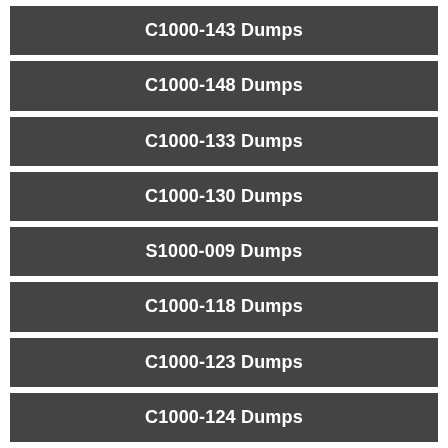C1000-143 Dumps
C1000-148 Dumps
C1000-133 Dumps
C1000-130 Dumps
S1000-009 Dumps
C1000-118 Dumps
C1000-123 Dumps
C1000-124 Dumps